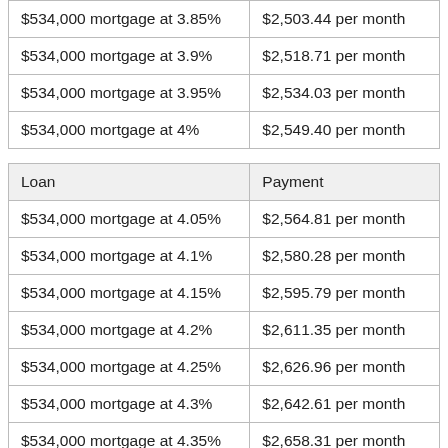| $534,000 mortgage at 3.85% | $2,503.44 per month |
| $534,000 mortgage at 3.9% | $2,518.71 per month |
| $534,000 mortgage at 3.95% | $2,534.03 per month |
| $534,000 mortgage at 4% | $2,549.40 per month |
| Loan | Payment |
| --- | --- |
| $534,000 mortgage at 4.05% | $2,564.81 per month |
| $534,000 mortgage at 4.1% | $2,580.28 per month |
| $534,000 mortgage at 4.15% | $2,595.79 per month |
| $534,000 mortgage at 4.2% | $2,611.35 per month |
| $534,000 mortgage at 4.25% | $2,626.96 per month |
| $534,000 mortgage at 4.3% | $2,642.61 per month |
| $534,000 mortgage at 4.35% | $2,658.31 per month |
| $534,000 mortgage at 4.4% | $2,674.06 per month |